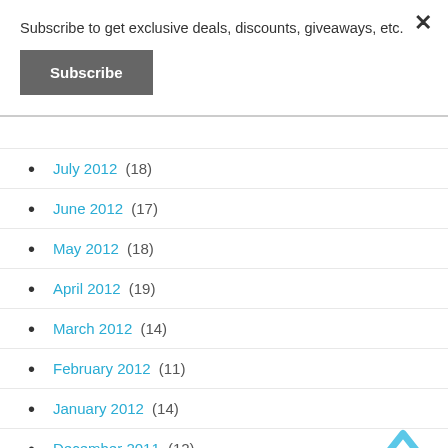Subscribe to get exclusive deals, discounts, giveaways, etc.
Subscribe
✕
July 2012 (18)
June 2012 (17)
May 2012 (18)
April 2012 (19)
March 2012 (14)
February 2012 (11)
January 2012 (14)
December 2011 (12)
November 2011 (16)
October 2011 (12)